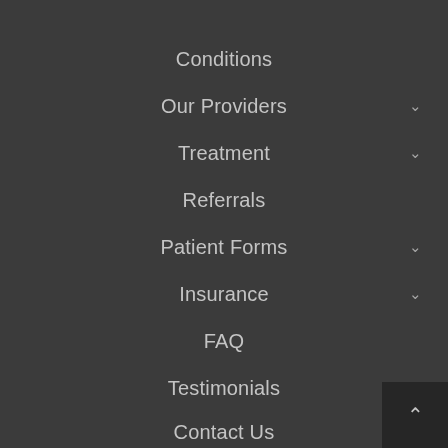Conditions
Our Providers
Treatment
Referrals
Patient Forms
Insurance
FAQ
Testimonials
Contact Us